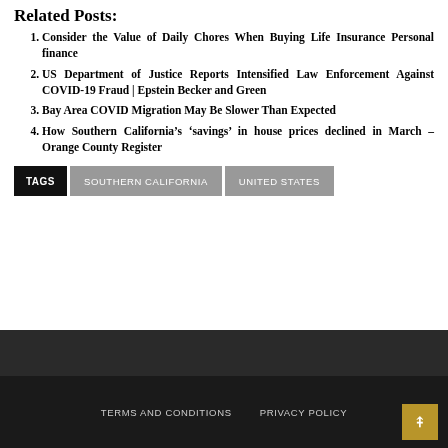Related Posts:
Consider the Value of Daily Chores When Buying Life Insurance Personal finance
US Department of Justice Reports Intensified Law Enforcement Against COVID-19 Fraud | Epstein Becker and Green
Bay Area COVID Migration May Be Slower Than Expected
How Southern California’s ‘savings’ in house prices declined in March – Orange County Register
TAGS  SOUTHERN CALIFORNIA  UNITED STATES
TERMS AND CONDITIONS   PRIVACY POLICY